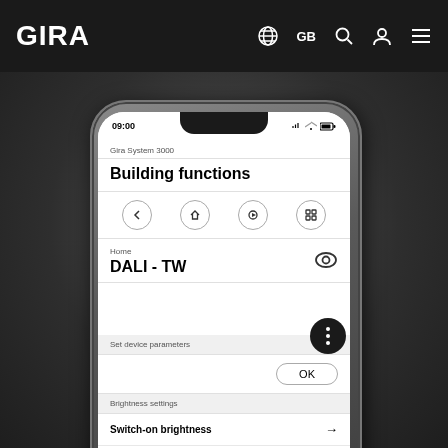GIRA  GB
updated via the app. From Autumn onwards, top units automatically have the ...
[Figure (screenshot): Smartphone mockup showing Gira System 3000 app screen with Building functions page. The screen shows: status bar with 09:00, Gira System 3000 header, Building functions title, navigation icons (back, home, play, grid), Home / DALI - TW section with eye icon, Set device parameters section with OK button, Brightness settings section with Switch-on brightness and Maximum dimming value list items with arrows.]